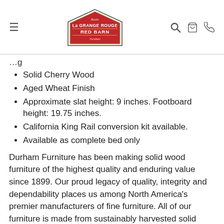[Figure (logo): La Grange Rouge Red Barn Furniture logo — red barn-shaped logo with white text]
Solid Cherry Wood
Aged Wheat Finish
Approximate slat height: 9 inches. Footboard height: 19.75 inches.
California King Rail conversion kit available.
Available as complete bed only
Durham Furniture has been making solid wood furniture of the highest quality and enduring value since 1899. Our proud legacy of quality, integrity and dependability places us among North America's premier manufacturers of fine furniture. All of our furniture is made from sustainably harvested solid wood at our plant in the Town of Durham, Ontario, Canada. Durham (population 2,500) is nestled